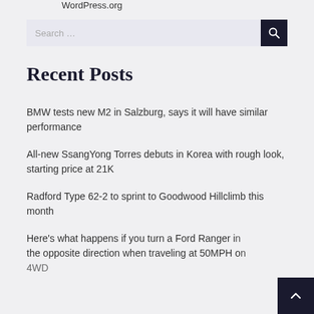WordPress.org
Recent Posts
BMW tests new M2 in Salzburg, says it will have similar performance
All-new SsangYong Torres debuts in Korea with rough look, starting price at 21K
Radford Type 62-2 to sprint to Goodwood Hillclimb this month
Here's what happens if you turn a Ford Ranger in the opposite direction when traveling at 50MPH on 4WD